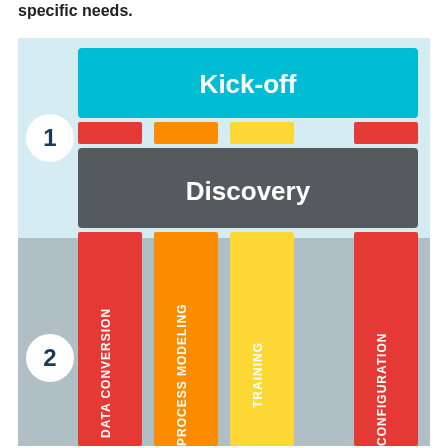specific needs.
[Figure (infographic): A process infographic showing two phases. Phase 1 (top, light blue background) contains a teal 'Kick-off' banner at the top, followed by colored blocks (red, orange, yellow, red), then a dark gray 'Discovery' banner. Phase 2 (bottom, gray background) shows four vertical colored bars extending downward with rotated text labels: 'DATA CONVERSION' (red/orange), 'PROCESS MODELING' (orange), 'TRAINING' (yellow), 'CONFIGURATION' (red/orange). A white circle with '1' labels Phase 1 on the left, and a white circle with '2' labels Phase 2.]